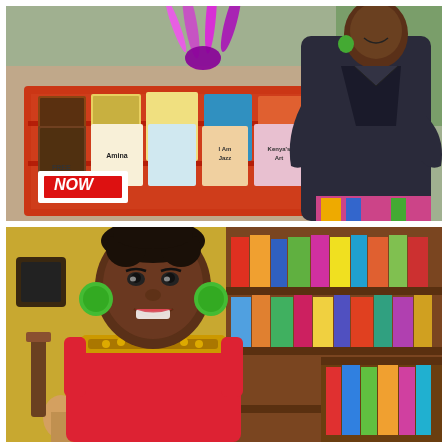[Figure (photo): A woman wearing a dark coat and colorful patterned pants with green earrings, standing in front of an outdoor book display rack filled with children's books and a 'FREE NOW' sign, with colorful feathered decorations on the rack.]
[Figure (photo): A smiling woman with short natural hair, wearing large green circular earrings, a red sleeveless top with a gold necklace, photographed inside what appears to be a bookstore with shelves of colorful books visible behind her.]